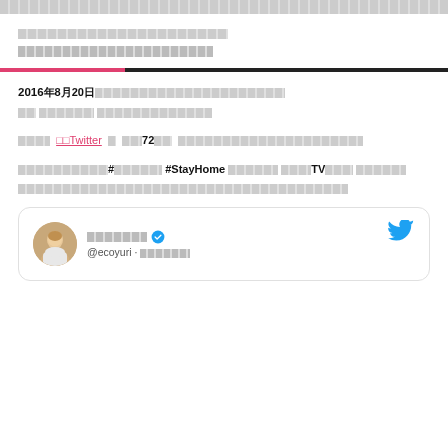[navigation bar with placeholder text]
[breadcrumb placeholder text]
[article title placeholder]
2016年8月20日[placeholder text continued on two lines]
[placeholder] Twitter [placeholder] 72[placeholder long text]
[placeholder]#[placeholder] #StayHome [placeholder] [placeholder]TV[placeholder] [placeholder line 2 full]
[Figure (screenshot): Tweet card from @ecoyuri account with verified badge, profile photo of a woman, and Twitter bird logo in top-right corner]